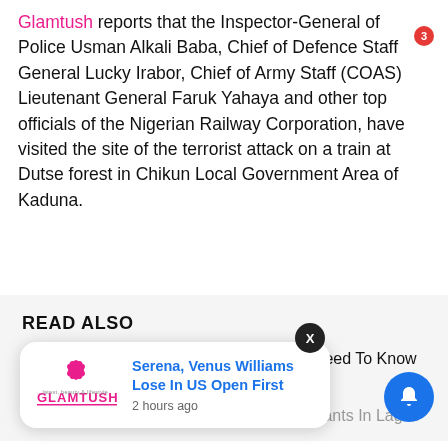Glamtush reports that the Inspector-General of Police Usman Alkali Baba, Chief of Defence Staff General Lucky Irabor, Chief of Army Staff (COAS) Lieutenant General Faruk Yahaya and other top officials of the Nigerian Railway Corporation, have visited the site of the terrorist attack on a train at Dutse forest in Chikun Local Government Area of Kaduna.
READ ALSO
Nigerian Newspapers: 10 Headlines You Need To Know This Friday Morning
Commissioner Alabi Moves Against Miscreants In Lagos
[Figure (other): Glamtush notification popup with logo showing 'Serena, Venus Williams Lose In US Open First' posted 2 hours ago, with a dark X close button and a blue bell icon with red badge showing 3]